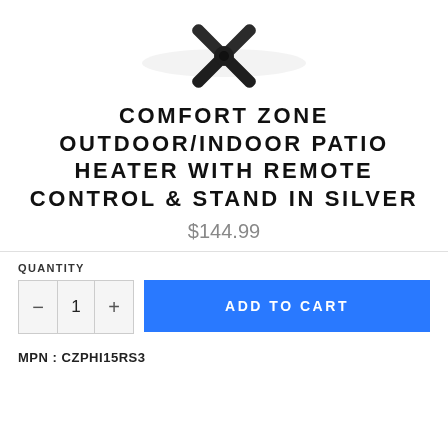[Figure (photo): Product image of a black X-shaped stand base for the patio heater, viewed from above]
COMFORT ZONE OUTDOOR/INDOOR PATIO HEATER WITH REMOTE CONTROL & STAND IN SILVER
$144.99
QUANTITY
ADD TO CART
MPN : CZPHI15RS3